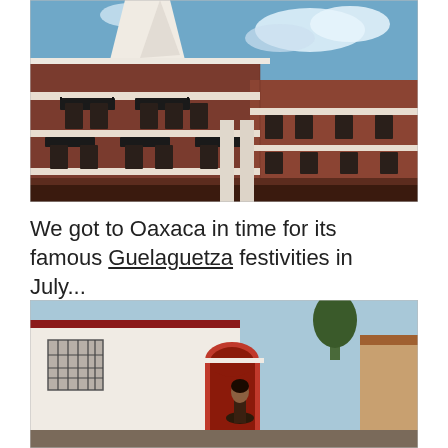[Figure (photo): Photograph of an ornate multi-story building in Oaxaca with red and terracotta tile facade, white decorative stucco trim, wrought iron balconies, and a white decorative parapet at the top corner, set against a blue sky with white clouds.]
We got to Oaxaca in time for its famous Guelaguetza festivities in July...
[Figure (photo): Photograph showing a white building with a red-trimmed arched doorway, iron-grated windows, and a woman visible in the foreground, with a tree and another building visible in the background.]